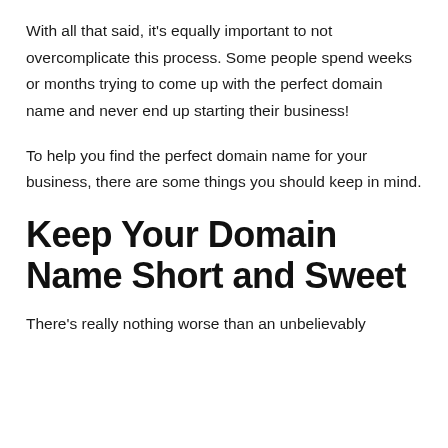With all that said, it's equally important to not overcomplicate this process. Some people spend weeks or months trying to come up with the perfect domain name and never end up starting their business!
To help you find the perfect domain name for your business, there are some things you should keep in mind.
Keep Your Domain Name Short and Sweet
There's really nothing worse than an unbelievably